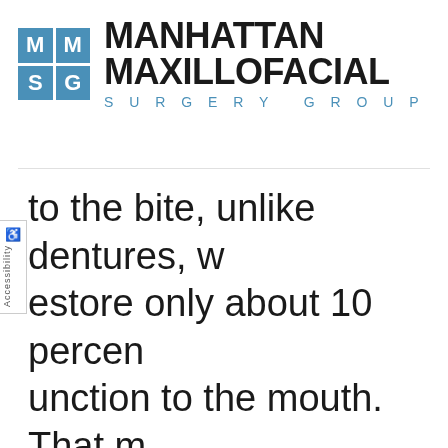[Figure (logo): Manhattan Maxillofacial Surgery Group logo with blue grid icon containing letters M, M, S, G and bold text name]
to the bite, unlike dentures, w estore only about 10 percen unction to the mouth. That m you do not have to worry abo eating foods that may otherw